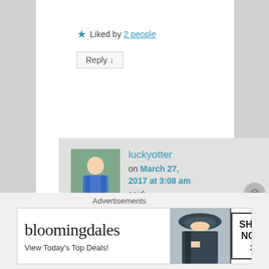★ Liked by 2 people
Reply ↓
luckyotter on March 27, 2017 at 3:08 am said:
Yes, if it's possible. They will only continue to drag you down and trigger you if you don't leave. You can't reason with them or change them. Good luck!
Advertisements
[Figure (photo): Bloomingdale's advertisement banner: logo, 'View Today's Top Deals!' text, woman in hat photo, 'SHOP NOW >' button]